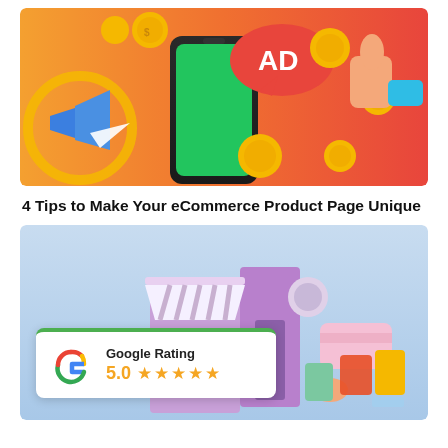[Figure (illustration): Colorful 3D illustration of digital advertising: smartphone with green screen, 'AD' speech bubble, coins, megaphone, thumbs up icon, paper airplane, on orange-to-red gradient background]
4 Tips to Make Your eCommerce Product Page Unique
[Figure (illustration): 3D illustration of eCommerce storefront with awning, purple door, pink credit card, shopping bags, on light blue background. Overlaid Google Rating card showing 5.0 with five orange stars.]